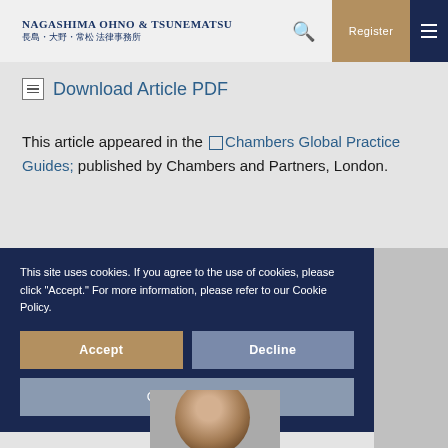Nagashima Ohno & Tsunematsu 長島・大野・常松 法律事務所
Download Article PDF
This article appeared in the Chambers Global Practice Guides; published by Chambers and Partners, London.
This site uses cookies. If you agree to the use of cookies, please click "Accept." For more information, please refer to our Cookie Policy.